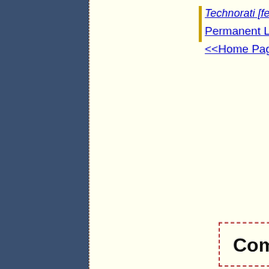Technorati [feed]
Permanent Link
<<Home Page
Comments: [Add New]